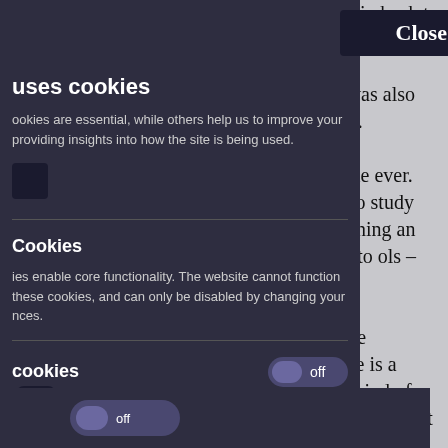anguage study in back to the study with the intense be the foundation h was also used han Latin.
y changes in the ever. Linguistic an to study the ope of defining an This gave rise to ols – empiricists
an only truly be repetition and e is a uniquely ome kind of innate eaching a student
[Figure (screenshot): Cookie consent overlay modal on a dark navy/purple background. Contains 'uses cookies' title, description text about cookies, a close button, section for 'Cookies' with functionality description, a toggle switch set to 'off' for personalisation cookies, a cookie settings icon at bottom left, and a partial toggle at the bottom.]
uses cookies
ookies are essential, while others help us to improve your providing insights into how the site is being used.
Cookies
ies enable core functionality. The website cannot function these cookies, and can only be disabled by changing your nces.
cookies
off
ersonalise the website to you by remembering your ttings.